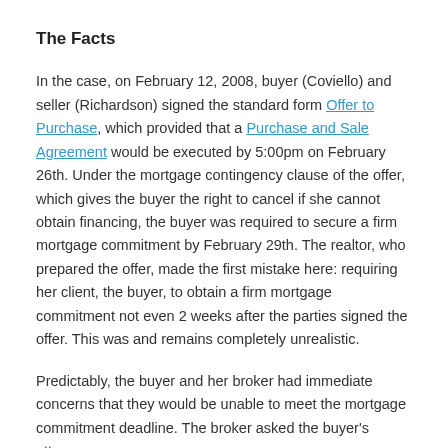The Facts
In the case, on February 12, 2008, buyer (Coviello) and seller (Richardson) signed the standard form Offer to Purchase, which provided that a Purchase and Sale Agreement would be executed by 5:00pm on February 26th. Under the mortgage contingency clause of the offer, which gives the buyer the right to cancel if she cannot obtain financing, the buyer was required to secure a firm mortgage commitment by February 29th. The realtor, who prepared the offer, made the first mistake here: requiring her client, the buyer, to obtain a firm mortgage commitment not even 2 weeks after the parties signed the offer. This was and remains completely unrealistic.
Predictably, the buyer and her broker had immediate concerns that they would be unable to meet the mortgage commitment deadline. The broker asked the buyer’s attorney,